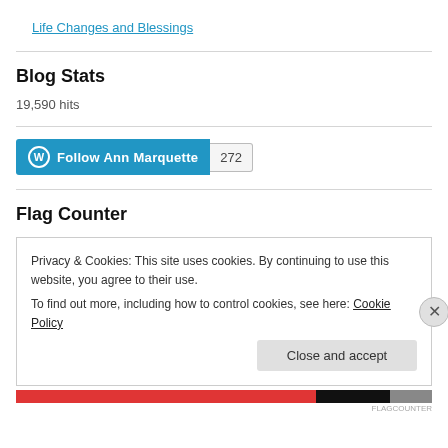Life Changes and Blessings
Blog Stats
19,590 hits
[Figure (other): Follow Ann Marquette button with count 272]
Flag Counter
Privacy & Cookies: This site uses cookies. By continuing to use this website, you agree to their use.
To find out more, including how to control cookies, see here: Cookie Policy
Close and accept